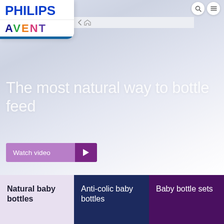[Figure (logo): Philips Avent logo card with white background, blue Philips wordmark, and colorful Avent wordmark]
[Figure (screenshot): Website hero section with light blue-grey gradient background]
The most natural way to bottle feed
Watch video
Natural baby bottles
Anti-colic baby bottles
Baby bottle sets